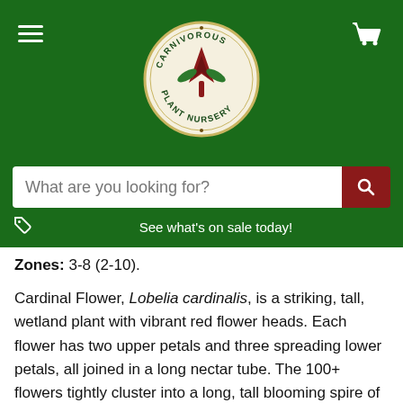[Figure (logo): Carnivorous Plant Nursery circular logo with red carnivorous plant illustration and text around the border]
See what's on sale today!
Zones: 3-8 (2-10).
Cardinal Flower, Lobelia cardinalis, is a striking, tall, wetland plant with vibrant red flower heads. Each flower has two upper petals and three spreading lower petals, all joined in a long nectar tube. The 100+ flowers tightly cluster into a long, tall blooming spire of vibrant red. The leaves are dark green and finely toothed. It prefers growing in consistently wet, loose soils, appreciating shade and tolerating full sun in cool, northern zones. It flowers